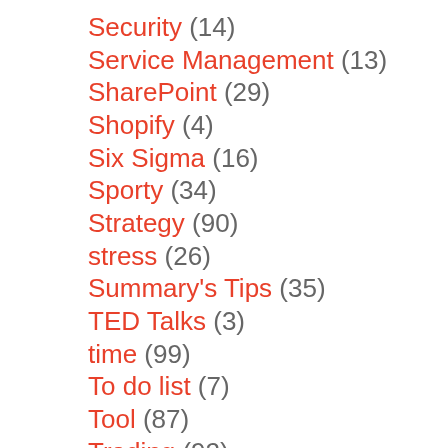Security (14)
Service Management (13)
SharePoint (29)
Shopify (4)
Six Sigma (16)
Sporty (34)
Strategy (90)
stress (26)
Summary's Tips (35)
TED Talks (3)
time (99)
To do list (7)
Tool (87)
Trading (92)
travel (23)